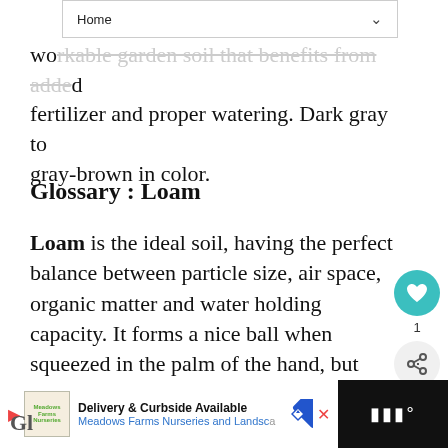Home
workable garden soil that benefits from added fertilizer and proper watering. Dark gray to gray-brown in color.
Glossary : Loam
Loam is the ideal soil, having the perfect balance between particle size, air space, organic matter and water holding capacity. It forms a nice ball when squeezed in the palm of the hand, but crumbles easily when lightly tapped with a finger. Rich color range between gray brown to almost black.
[Figure (screenshot): UI overlay with heart/favourite button (teal circle), share button, and 'WHAT'S NEXT' preview showing Eryngium – Sea Holly thumbnail]
[Figure (screenshot): Bottom advertisement bar: Meadows Farms Nurseries and Landscape – Delivery & Curbside Available]